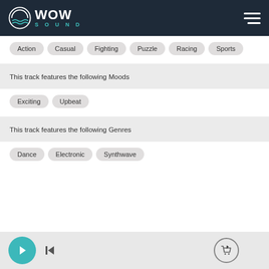[Figure (logo): WOW SOUND logo with teal wave icon on dark navy header, hamburger menu icon top right]
Action  Casual  Fighting  Puzzle  Racing  Sports
This track features the following Moods
Exciting  Upbeat
This track features the following Genres
Dance  Electronic  Synthwave
[Figure (other): Music player bar at bottom with teal play button, skip button, and cart icon circle]